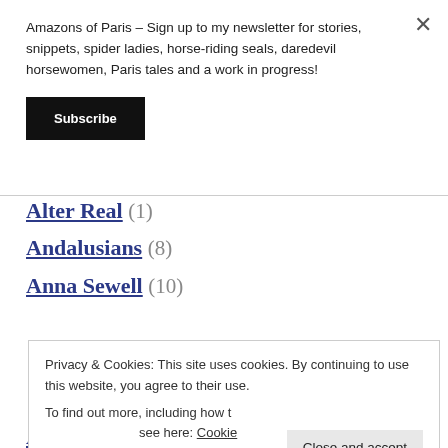×
Amazons of Paris – Sign up to my newsletter for stories, snippets, spider ladies, horse-riding seals, daredevil horsewomen, Paris tales and a work in progress!
Subscribe
Alter Real (1)
Andalusians (8)
Anna Sewell (10)
Privacy & Cookies: This site uses cookies. By continuing to use this website, you agree to their use. To find out more, including how to control cookies, see here: Cookie Policy
Close and accept
Archaeology (17)